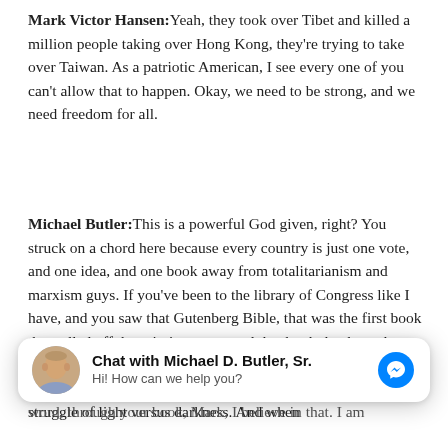Mark Victor Hansen: Yeah, they took over Tibet and killed a million people taking over Hong Kong, they're trying to take over Taiwan. As a patriotic American, I see every one of you can't allow that to happen. Okay, we need to be strong, and we need freedom for all.
Michael Butler: This is a powerful God given, right? You struck on a chord here because every country is just one vote, and one idea, and one book away from totalitarianism and marxism guys. If you've been to the library of Congress like I have, and you saw that Gutenberg Bible, that was the first book that rolled off the printing press, and that book that brought us out of the dark ages because the common man could read the word of God. You need to realize that we're still in this eternal struggle of light versus darkness. And when
[Figure (screenshot): Chat widget overlay showing 'Chat with Michael D. Butler, Sr.' with avatar photo and messenger icon]
word, through your book, Mark, I believe in that. I am